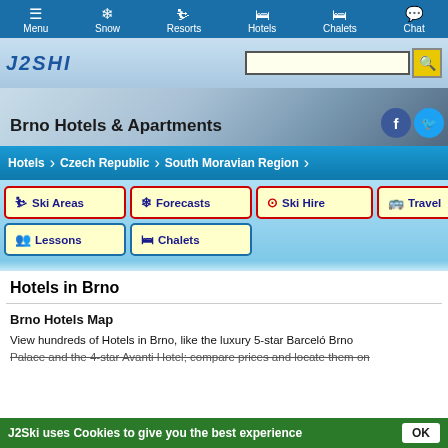Menu | Snow | Resorts | Hotels | Chalets | Chat
[Figure (screenshot): J2Ski logo with search bar and search button]
Brno Hotels & Apartments
[Figure (infographic): Navigation breadcrumb: Hotels > Czech Republic > South Moravian Region]
Ski Areas
Forecasts
Ski Hire
Travel
Lessons
Chalets
Hotels in Brno
Brno Hotels Map
View hundreds of Hotels in Brno, like the luxury 5-star Barceló Brno Palace and the 4-star Avanti Hotel; compare prices and locate them on our map below.
J2Ski uses Cookies to give you the best experience